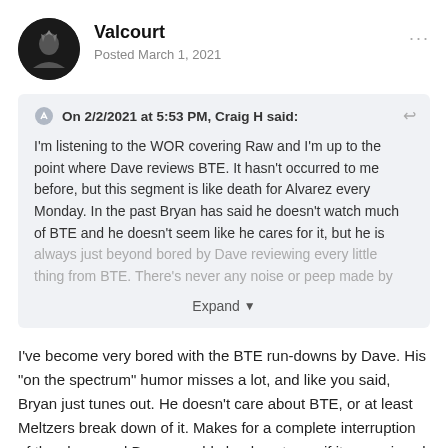Valcourt
Posted March 1, 2021
On 2/2/2021 at 5:53 PM, Craig H said:
I'm listening to the WOR covering Raw and I'm up to the point where Dave reviews BTE. It hasn't occurred to me before, but this segment is like death for Alvarez every Monday. In the past Bryan has said he doesn't watch much of BTE and he doesn't seem like he cares for it, but he is always just beyond bored by Dave reviewing every little thing from BTE. There's never any noise or peep made by
Expand
I've become very bored with the BTE run-downs by Dave. His "on the spectrum" humor misses a lot, and like you said, Bryan just tunes out. He doesn't care about BTE, or at least Meltzers break down of it. Makes for a complete interruption of the show, and Bryan would clearly not care if it was missed.